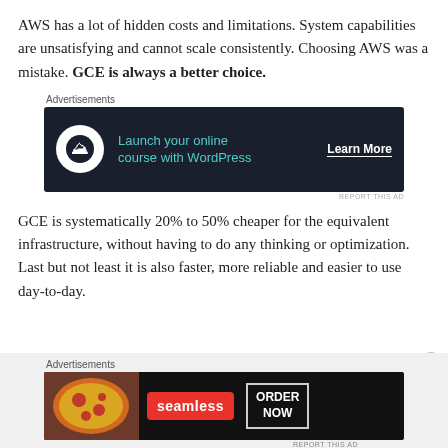AWS has a lot of hidden costs and limitations. System capabilities are unsatisfying and cannot scale consistently. Choosing AWS was a mistake. GCE is always a better choice.
[Figure (other): Advertisement banner: dark background with tree/mountain icon, teal text 'Launch your online course with WordPress', and 'Learn More' button]
GCE is systematically 20% to 50% cheaper for the equivalent infrastructure, without having to do any thinking or optimization. Last but not least it is also faster, more reliable and easier to use day-to-day.
[Figure (other): Advertisement banner: Seamless food delivery app with pizza photo, red Seamless badge, and 'ORDER NOW' button]